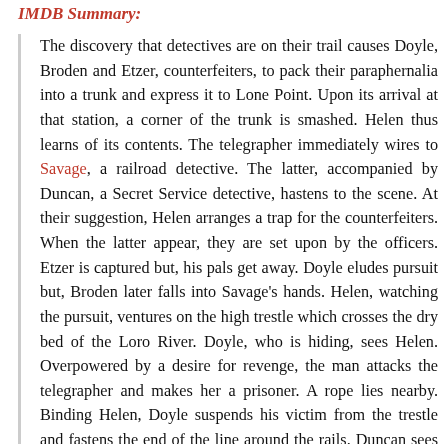IMDB Summary:
The discovery that detectives are on their trail causes Doyle, Broden and Etzer, counterfeiters, to pack their paraphernalia into a trunk and express it to Lone Point. Upon its arrival at that station, a corner of the trunk is smashed. Helen thus learns of its contents. The telegrapher immediately wires to Savage, a railroad detective. The latter, accompanied by Duncan, a Secret Service detective, hastens to the scene. At their suggestion, Helen arranges a trap for the counterfeiters. When the latter appear, they are set upon by the officers. Etzer is captured but, his pals get away. Doyle eludes pursuit but, Broden later falls into Savage's hands. Helen, watching the pursuit, ventures on the high trestle which crosses the dry bed of the Loro River. Doyle, who is hiding, sees Helen. Overpowered by a desire for revenge, the man attacks the telegrapher and makes her a prisoner. A rope lies nearby. Binding Helen, Doyle suspends his victim from the trestle and fastens the end of the line around the rails. Duncan sees this from afar. Although he rushes forward, he knows that the Keene local, due any moment, will cut the rope as it crosses the trestle. Meanwhile, Helen, after a tremendous effort, frees her hands. There is one chance for life. The girl commences swinging her body. Each time, she [manages] a wider arc. The train is crossing the trestle when Helen swings toward a beam. The engine wheels sever the rope. Helen flies through the air and reaches the beam. Doyle is captured